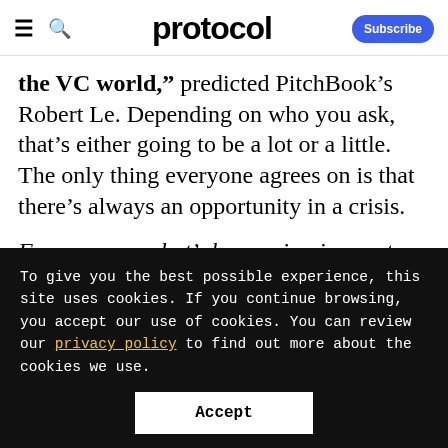protocol | Subscribe
the VC world," predicted PitchBook’s Robert Le. Depending on who you ask, that’s either going to be a lot or a little. The only thing everyone agrees on is that there’s always an opportunity in a crisis.
For more on what’s happening in crypto
To give you the best possible experience, this site uses cookies. If you continue browsing, you accept our use of cookies. You can review our privacy policy to find out more about the cookies we use.
Accept